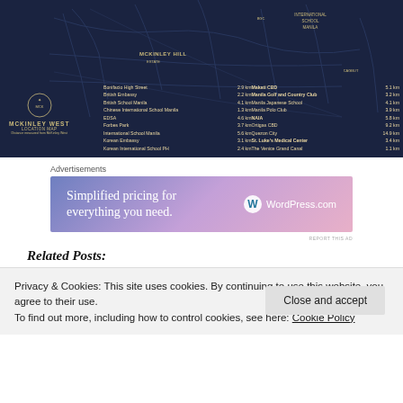[Figure (map): McKinley West Location Map showing road map with dark navy background, distance list from McKinley West to various landmarks in Metro Manila including Bonifacio High Street 2.9 km, British Embassy 2.2 km, British School Manila 4.1 km, Chinese International School Manila 1.3 km, EDSA 4.6 km, Forbes Park 3.7 km, International School Manila 5.6 km, Korean Embassy 3.1 km, Korean International School PH 2.4 km, Makati CBD 5.1 km, Manila Golf and Country Club 3.2 km, Manila Japanese School 4.1 km, Manila Polo Club 3.9 km, NAIA 5.8 km, Ortigas CBD 9.2 km, Quezon City 14.9 km, St. Luke's Medical Center 3.4 km, The Venice Grand Canal 1.1 km]
Advertisements
[Figure (infographic): WordPress.com advertisement banner with gradient purple/pink background. Text: Simplified pricing for everything you need. WordPress.com]
Related Posts:
Privacy & Cookies: This site uses cookies. By continuing to use this website, you agree to their use.
To find out more, including how to control cookies, see here: Cookie Policy
Close and accept